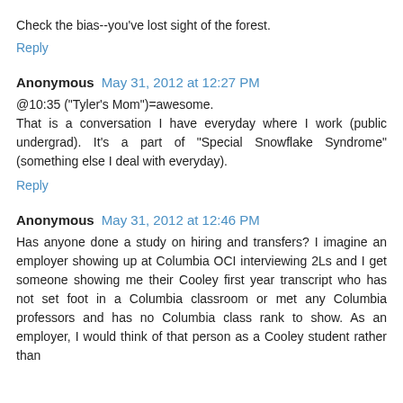Check the bias--you've lost sight of the forest.
Reply
Anonymous May 31, 2012 at 12:27 PM
@10:35 ("Tyler's Mom")=awesome.
That is a conversation I have everyday where I work (public undergrad). It's a part of "Special Snowflake Syndrome" (something else I deal with everyday).
Reply
Anonymous May 31, 2012 at 12:46 PM
Has anyone done a study on hiring and transfers? I imagine an employer showing up at Columbia OCI interviewing 2Ls and I get someone showing me their Cooley first year transcript who has not set foot in a Columbia classroom or met any Columbia professors and has no Columbia class rank to show. As an employer, I would think of that person as a Cooley student rather than